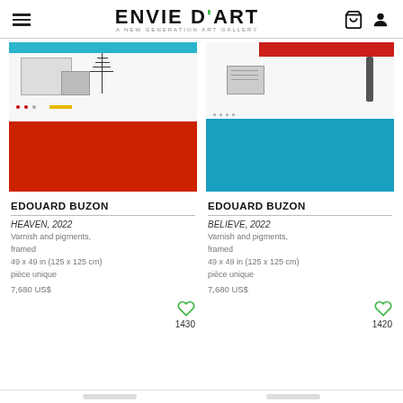ENVIE D'ART — A NEW GENERATION ART GALLERY
[Figure (photo): Artwork by Edouard Buzon titled HEAVEN 2022 — abstract painting with black architectural sketch on white background, bold red painted area on lower half, blue strip at top]
EDOUARD BUZON
HEAVEN, 2022
Varnish and pigments, framed
49 x 49 in (125 x 125 cm)
pièce unique
7,680 US$
1430
[Figure (photo): Artwork by Edouard Buzon titled BELIEVE 2022 — abstract painting with black architectural sketch on white background, bold cyan/blue painted area on lower half, red strip at top right]
EDOUARD BUZON
BELIEVE, 2022
Varnish and pigments, framed
49 x 49 in (125 x 125 cm)
pièce unique
7,680 US$
1420